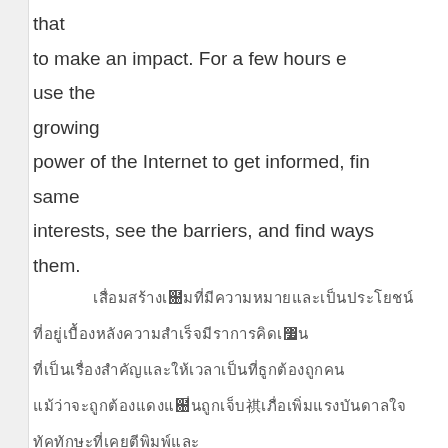that
to make an impact. For a few hours e
use the
growing
power of the Internet to get informed, fin
same
interests, see the barriers, and find ways
them.
[Thai script lines - redacted]